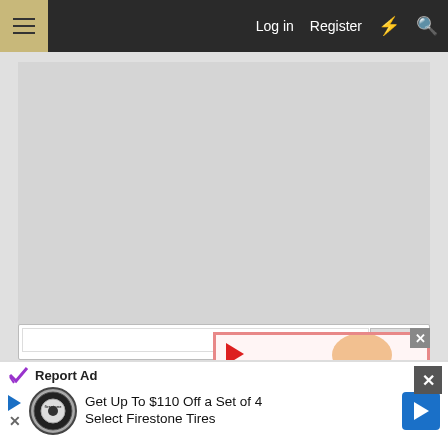Log in  Register
[Figure (screenshot): Gray advertisement placeholder area]
[Figure (illustration): Kidney Stones symptoms advertisement popup with cartoon kidneys holding HELP sign and person holding their back in pain, red play button triangle in top left corner]
Report Ad
[Figure (screenshot): Bottom advertisement banner: Get Up To $110 Off a Set of 4 Select Firestone Tires, with Firestone auto logo and blue navigation arrow]
Report Ad
Get Up To $110 Off a Set of 4 Select Firestone Tires